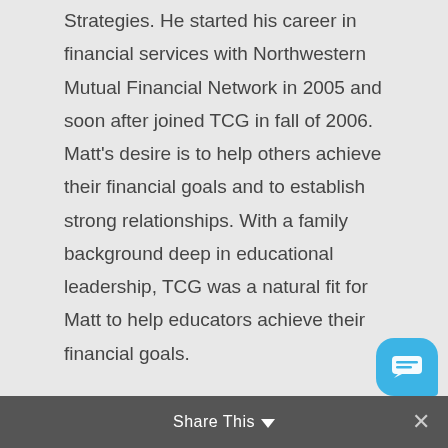Strategies. He started his career in financial services with Northwestern Mutual Financial Network in 2005 and soon after joined TCG in fall of 2006. Matt's desire is to help others achieve their financial goals and to establish strong relationships. With a family background deep in educational leadership, TCG was a natural fit for Matt to help educators achieve their financial goals.
Over his time at TCG, Matt has held a variety of positions including Investment Advisor to private clients, Regional Sales Director, and Senior Director responsible for working closely with clients to develop retirement planning education and engagement activities for the employees. In his current role, Matt leads the
Share This